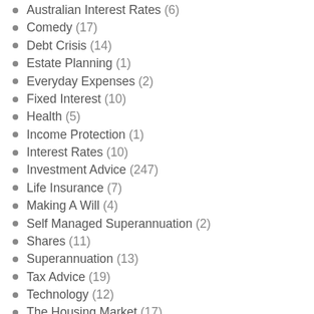Australian Interest Rates (6)
Comedy (17)
Debt Crisis (14)
Estate Planning (1)
Everyday Expenses (2)
Fixed Interest (10)
Health (5)
Income Protection (1)
Interest Rates (10)
Investment Advice (247)
Life Insurance (7)
Making A Will (4)
Self Managed Superannuation (2)
Shares (11)
Superannuation (13)
Tax Advice (19)
Technology (12)
The Housing Market (17)
Uncategorized (4)